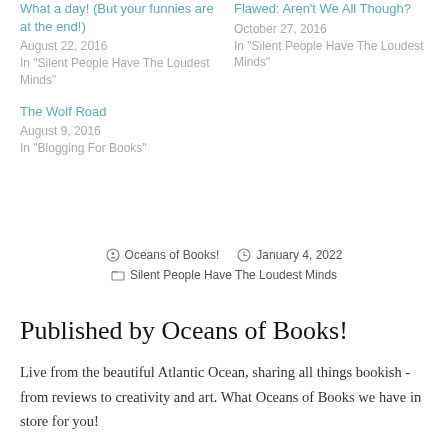What a day! (But your funnies are at the end!)
August 22, 2016
In "Silent People Have The Loudest Minds"
Flawed: Aren't We All Though?
October 27, 2016
In "Silent People Have The Loudest Minds"
The Wolf Road
August 9, 2016
In "Blogging For Books"
Oceans of Books!   January 4, 2022
Silent People Have The Loudest Minds
Published by Oceans of Books!
Live from the beautiful Atlantic Ocean, sharing all things bookish - from reviews to creativity and art. What Oceans of Books we have in store for you!